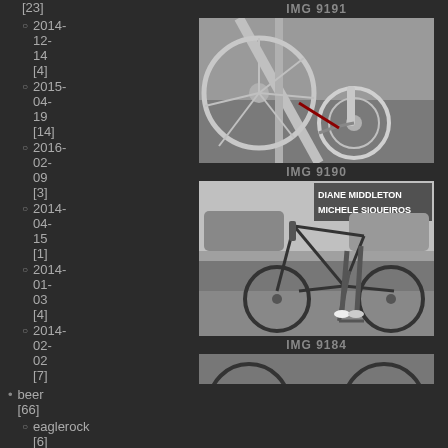[23]
2014-12-14 [4]
2015-04-19 [14]
2016-02-09 [3]
2014-04-15 [1]
2014-01-03 [4]
2014-02-02 [7]
beer [66]
eaglerock [6]
goldenroad [6]
hanger24
IMG 9191
[Figure (photo): Close-up photo of bicycle wheel, chain, and crankset components, silver/chrome tones]
IMG 9190
[Figure (photo): Black and white photo of a bicycle leaning against a bike rack on a sidewalk, with text overlay reading DIANE MIDDLETON MICHELE SIQUEIROS]
IMG 9184
[Figure (photo): Partial photo visible at bottom, black and white bicycle image]